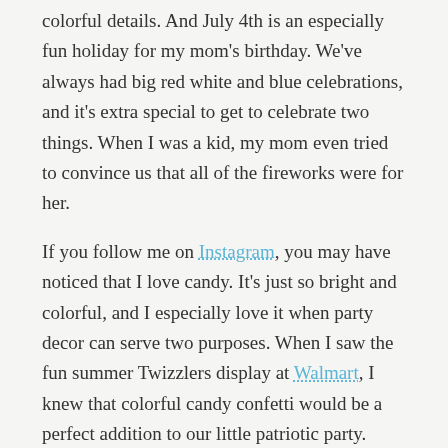colorful details. And July 4th is an especially fun holiday for my family because it’s my mom’s birthday. We’ve always had big red white and blue celebrations, and it’s extra special to get to celebrate two things. When I was a kid, my mom even tried to convince us that all of the fireworks were for her.
If you follow me on Instagram, you may have noticed that I love candy. It’s just so bright and colorful, and I especially love it when party decor can serve two purposes. When I saw the fun summer Twizzlers display at Walmart, I knew that colorful candy confetti would be a perfect addition to our little patriotic party.
What you need:
1. Twizzlers
2. Blue Twizzlers (found in rainbow bag)